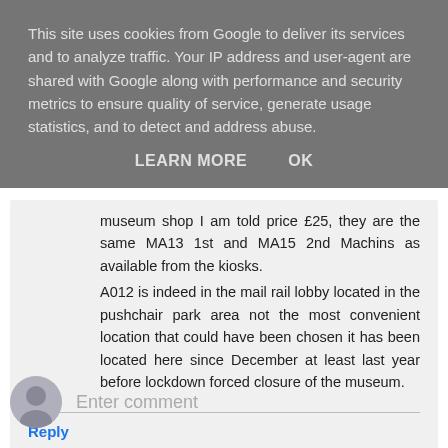This site uses cookies from Google to deliver its services and to analyze traffic. Your IP address and user-agent are shared with Google along with performance and security metrics to ensure quality of service, generate usage statistics, and to detect and address abuse.
LEARN MORE    OK
museum shop I am told price £25, they are the same MA13 1st and MA15 2nd Machins as available from the kiosks.
A012 is indeed in the mail rail lobby located in the pushchair park area not the most convenient location that could have been chosen it has been located here since December at least last year before lockdown forced closure of the museum.
Reply
Enter comment